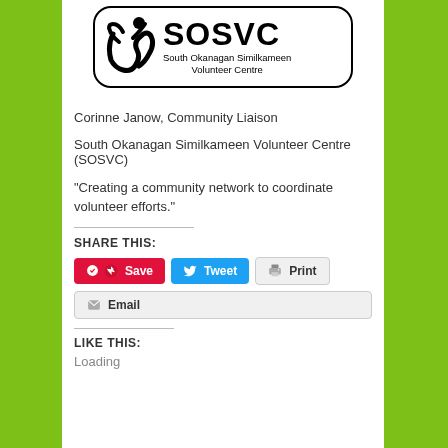[Figure (logo): SOSVC South Okanagan Similkameen Volunteer Centre logo in a rounded rectangle border, with a stylized human figure icon on the left and SOSVC text in large bold letters with subtitle text below]
Corinne Janow, Community Liaison
South Okanagan Similkameen Volunteer Centre (SOSVC)
“Creating a community network to coordinate volunteer efforts.”
SHARE THIS:
Save  Tweet  Print  Email
LIKE THIS:
Loading